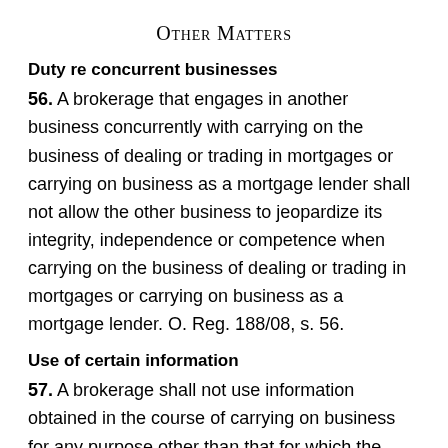Other Matters
Duty re concurrent businesses
56. A brokerage that engages in another business concurrently with carrying on the business of dealing or trading in mortgages or carrying on business as a mortgage lender shall not allow the other business to jeopardize its integrity, independence or competence when carrying on the business of dealing or trading in mortgages or carrying on business as a mortgage lender. O. Reg. 188/08, s. 56.
Use of certain information
57. A brokerage shall not use information obtained in the course of carrying on business for any purpose other than that for which the